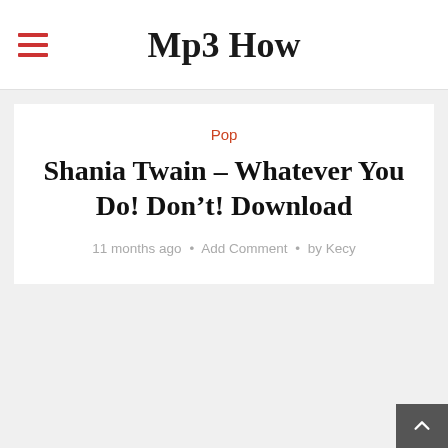Mp3 How
Pop
Shania Twain – Whatever You Do! Don't! Download
11 months ago • Add Comment • by Kecy